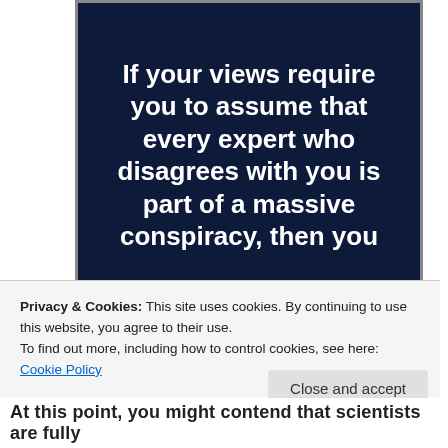[Figure (illustration): Dark navy blue image with bold white text reading: 'If your views require you to assume that every expert who disagrees with you is part of a massive conspiracy, then you']
Privacy & Cookies: This site uses cookies. By continuing to use this website, you agree to their use.
To find out more, including how to control cookies, see here: Cookie Policy
Close and accept
At this point, you might contend that scientists are fully